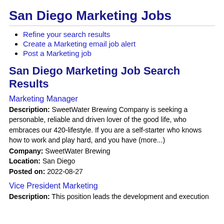San Diego Marketing Jobs
Refine your search results
Create a Marketing email job alert
Post a Marketing job
San Diego Marketing Job Search Results
Marketing Manager
Description: SweetWater Brewing Company is seeking a personable, reliable and driven lover of the good life, who embraces our 420-lifestyle. If you are a self-starter who knows how to work and play hard, and you have (more...)
Company: SweetWater Brewing
Location: San Diego
Posted on: 2022-08-27
Vice President Marketing
Description: This position leads the development and execution